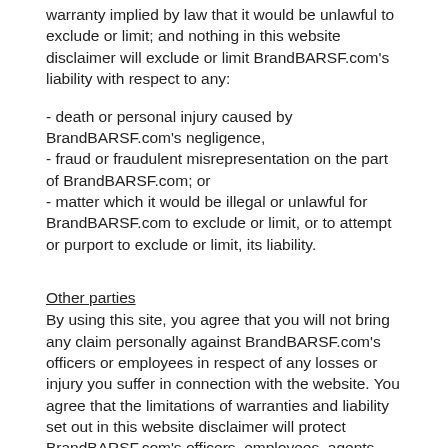warranty implied by law that it would be unlawful to exclude or limit; and nothing in this website disclaimer will exclude or limit BrandBARSF.com's liability with respect to any:
- death or personal injury caused by BrandBARSF.com's negligence,
- fraud or fraudulent misrepresentation on the part of BrandBARSF.com; or
- matter which it would be illegal or unlawful for BrandBARSF.com to exclude or limit, or to attempt or purport to exclude or limit, its liability.
Other parties
By using this site, you agree that you will not bring any claim personally against BrandBARSF.com's officers or employees in respect of any losses or injury you suffer in connection with the website. You agree that the limitations of warranties and liability set out in this website disclaimer will protect BrandBARSF.com's officers, employees, agents, subsidiaries, successors, assigns and sub-contractors as well as BrandBARSF.com.
Refunds
We do not refund purchases or offer returns of a BrandBAR SF